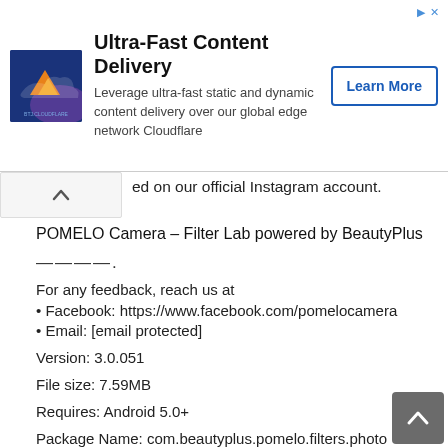[Figure (screenshot): Advertisement banner for Cloudflare Ultra-Fast Content Delivery with logo, description text, and Learn More button]
ed on our official Instagram account.
POMELO Camera – Filter Lab powered by BeautyPlus
————.
For any feedback, reach us at
• Facebook: https://www.facebook.com/pomelocamera
• Email: [email protected]
Version: 3.0.051
File size: 7.59MB
Requires: Android 5.0+
Package Name: com.beautyplus.pomelo.filters.photo
Developer: Meitu (China) Limited
Updated: August 09, 2019
Price: Free